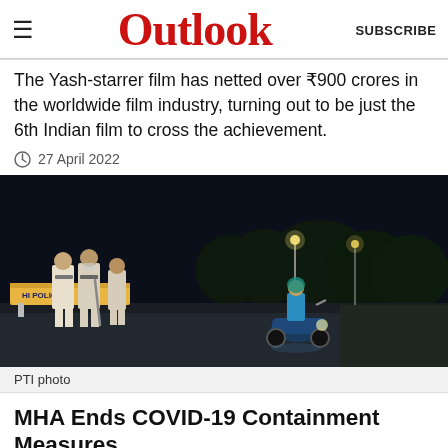Outlook
The Yash-starrer film has netted over ₹900 crores in the worldwide film industry, turning out to be just the 6th Indian film to cross the achievement.
27 April 2022
[Figure (photo): Night scene showing Delhi Police officers in white uniforms standing at a barricade checkpoint, with a person riding an electric scooter passing by on a dark road lined with trees and street lights.]
PTI photo
MHA Ends COVID-19 Containment Measures